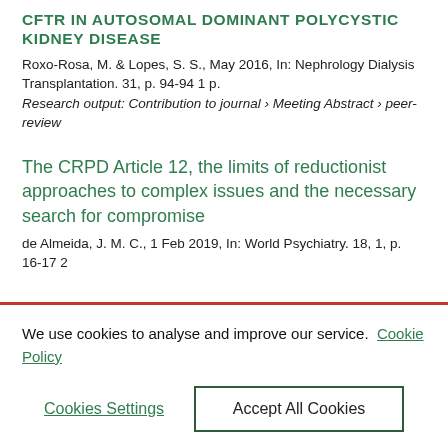CFTR IN AUTOSOMAL DOMINANT POLYCYSTIC KIDNEY DISEASE
Roxo-Rosa, M. & Lopes, S. S., May 2016, In: Nephrology Dialysis Transplantation. 31, p. 94-94 1 p.
Research output: Contribution to journal › Meeting Abstract › peer-review
The CRPD Article 12, the limits of reductionist approaches to complex issues and the necessary search for compromise
de Almeida, J. M. C., 1 Feb 2019, In: World Psychiatry. 18, 1, p. 16-17 2
We use cookies to analyse and improve our service.
Cookie Policy
Cookies Settings
Accept All Cookies